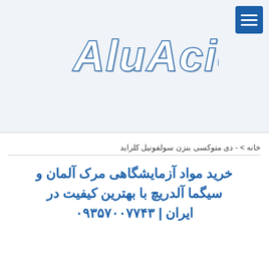[Figure (logo): AluAcid stylized logo text in 3D blue and gray letters on light blue background]
خانه > - دی متوکسی بنزن سولفونیل کلراید
خرید مواد آزمایشگاهی مرک آلمان و سیگما آلدریچ با بهترین کیفیت در ایران | ۰۹۳۵۷۰۰۷۷۴۳